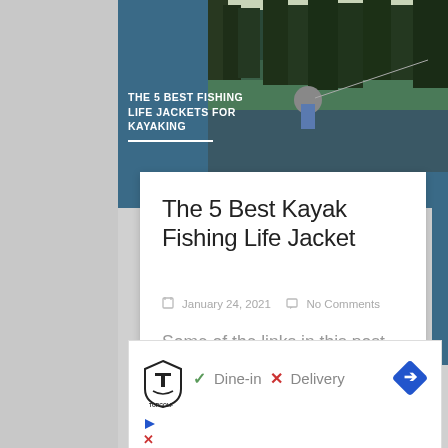[Figure (photo): Banner image showing an elderly man fishing at a river with dense forest in the background. Overlaid with text 'THE 5 BEST FISHING LIFE JACKETS FOR KAYAKING' in white bold uppercase on a dark teal background.]
The 5 Best Kayak Fishing Life Jacket
January 24, 2021   No Comments
Some of the links in this post are affiliate links. This means if you click on the link and
[Figure (screenshot): Advertisement banner showing Topgolf logo with checkmarks for Dine-in and an X for Delivery, plus a blue diamond arrow navigation icon.]